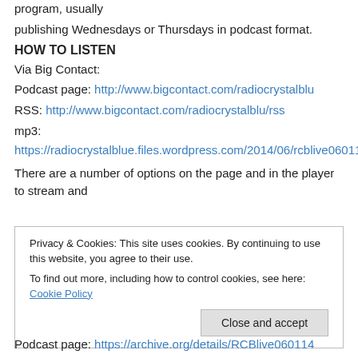program, usually
publishing Wednesdays or Thursdays in podcast format.
HOW TO LISTEN
Via Big Contact:
Podcast page: http://www.bigcontact.com/radiocrystalblu
RSS: http://www.bigcontact.com/radiocrystalblu/rss
mp3:
https://radiocrystalblue.files.wordpress.com/2014/06/rcblive060114.mp3
There are a number of options on the page and in the player to stream and
Privacy & Cookies: This site uses cookies. By continuing to use this website, you agree to their use.
To find out more, including how to control cookies, see here: Cookie Policy
Close and accept
Podcast page: https://archive.org/details/RCBlive060114